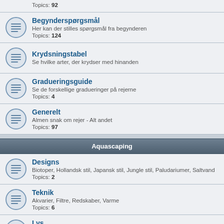Topics: 92
Begynderspørgsmål — Her kan der stilles spørgsmål fra begynderen — Topics: 124
Krydsningstabel — Se hvilke arter, der krydser med hinanden
Gradueringsguide — Se de forskellige gradueringer på rejerne — Topics: 4
Generelt — Almen snak om rejer - Alt andet — Topics: 97
Aquascaping
Designs — Biotoper, Hollandsk stil, Japansk stil, Jungle stil, Paludariumer, Saltvand — Topics: 2
Teknik — Akvarier, Filtre, Redskaber, Varme — Topics: 6
Lys — Automatik, Flourecent, LED, Metal-halide — Topics: 4
CO2 — Diffuser, Dosering, Gær, In-line, Reaktor, Regulator